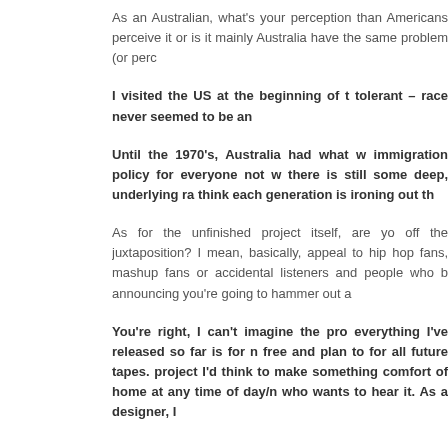As an Australian, what's your perception than Americans perceive it or is it mainly Australia have the same problem (or perc
I visited the US at the beginning of t tolerant – race never seemed to be an
Until the 1970's, Australia had what w immigration policy for everyone not w there is still some deep, underlying ra think each generation is ironing out th
As for the unfinished project itself, are yo off the juxtaposition? I mean, basically, appeal to hip hop fans, mashup fans or accidental listeners and people who b announcing you're going to hammer out a
You're right, I can't imagine the pro everything I've released so far is for n free and plan to for all future tapes. project I'd think to make something comfort of home at any time of day/n who wants to hear it. As a designer, I